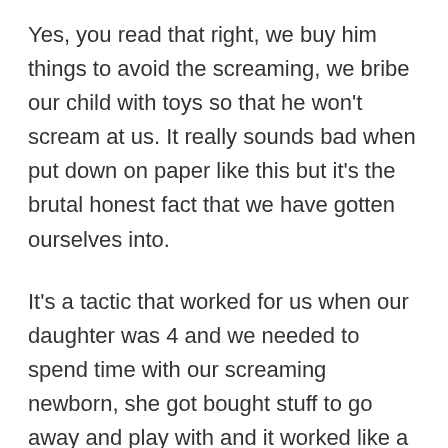Yes, you read that right, we buy him things to avoid the screaming, we bribe our child with toys so that he won't scream at us. It really sounds bad when put down on paper like this but it's the brutal honest fact that we have gotten ourselves into.
It's a tactic that worked for us when our daughter was 4 and we needed to spend time with our screaming newborn, she got bought stuff to go away and play with and it worked like a charm.
Welcome to our life, we buy things for our kids to not have to deal with them. I almost wanted to put a smiley face behind that sentence to make myself feel better